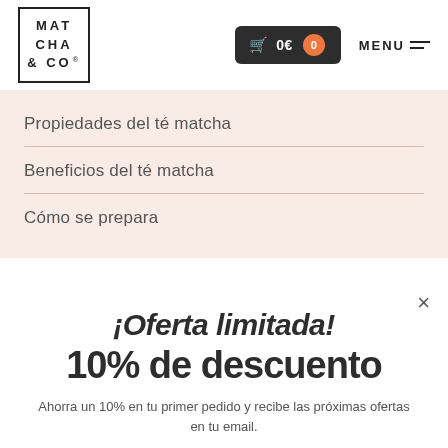[Figure (logo): Matcha & Co logo in a square border with registered trademark symbol]
🛒 0€  0   MENU
Propiedades del té matcha
Beneficios del té matcha
Cómo se prepara
¡Oferta limitada! 10% de descuento
Ahorra un 10% en tu primer pedido y recibe las próximas ofertas en tu email.
¿Qué productos te interesan?